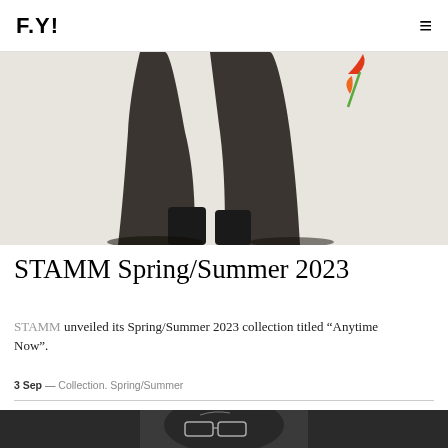F.Y!
[Figure (photo): Fashion editorial photo showing lower half of model in black sheer draped garment with black boots, colorful floral element visible in background, light grey/white studio background]
STAMM Spring/Summer 2023
STAMM unveiled its Spring/Summer 2023 collection titled “Anytime Now”.
3 Sep — Collection. Spring/Summer
[Figure (photo): Black and white close-up portrait of a person wearing futuristic transparent/clear frame eyeglasses, face cropped tightly]